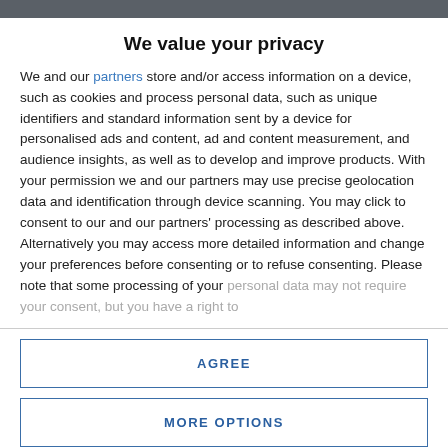We value your privacy
We and our partners store and/or access information on a device, such as cookies and process personal data, such as unique identifiers and standard information sent by a device for personalised ads and content, ad and content measurement, and audience insights, as well as to develop and improve products. With your permission we and our partners may use precise geolocation data and identification through device scanning. You may click to consent to our and our partners' processing as described above. Alternatively you may access more detailed information and change your preferences before consenting or to refuse consenting. Please note that some processing of your personal data may not require your consent, but you have a right to
AGREE
MORE OPTIONS
The webinar series will shine a spotlight on California's emerging